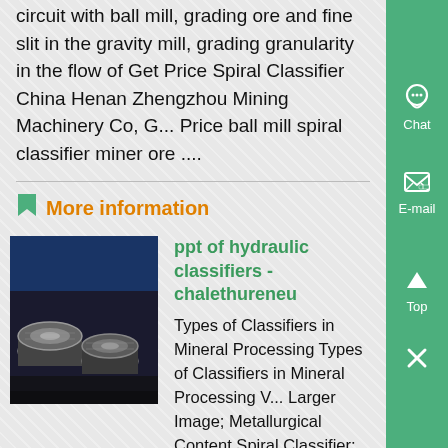circuit with ball mill, grading ore and fine slit in the gravity mill, grading granularity in the flow of Get Price Spiral Classifier China Henan Zhengzhou Mining Machinery Co, Get Price ball mill spiral classifier miner ore ....
More information
[Figure (photo): Photo of industrial mill/roller components, dark metallic cylindrical objects stacked.]
ppt of hydraulic classifiers - chalethureneu
Types of Classifiers in Mineral Processing Types of Classifiers in Mineral Processing View Larger Image; Metallurgical Content Spiral Classifier; Screw/Spiral Classifier Capacity Table Hydraulic Classifier is designed for use in ...